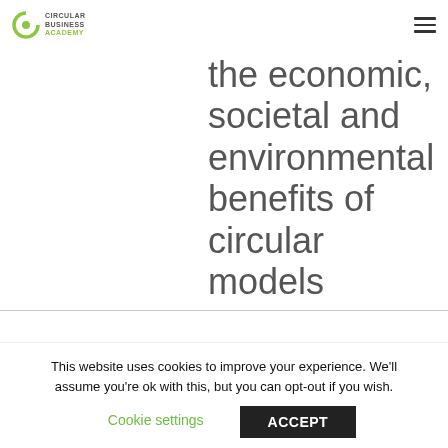Circular Business Academy
the economic, societal and environmental benefits of circular models
Skills: Acquire a complete practitioners' toolkit for
This website uses cookies to improve your experience. We'll assume you're ok with this, but you can opt-out if you wish.
Cookie settings | ACCEPT